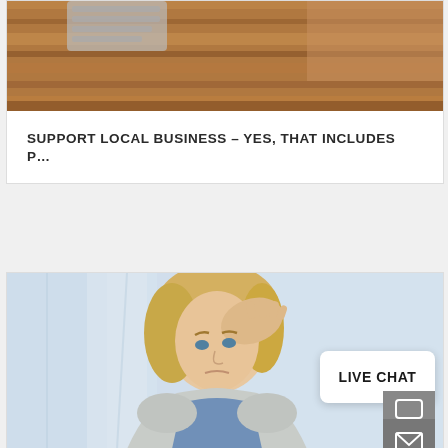[Figure (photo): Top portion of a blog/website card showing a wooden desk surface with a keyboard partially visible. Below it is a white card area.]
SUPPORT LOCAL BUSINESS – YES, THAT INCLUDES P…
[Figure (photo): Photo of a stressed blonde woman in a light gray cardigan and blue shirt, holding her hand to her forehead. Background is a light blue/white curtain. A 'LIVE CHAT' speech bubble overlay is visible in the lower right, along with two icon buttons (chat and email).]